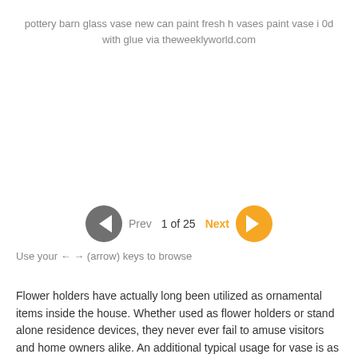pottery barn glass vase new can paint fresh h vases paint vase i 0d with glue via theweeklyworld.com
[Figure (other): Navigation UI element showing previous/next buttons with page indicator '1 of 25']
Use your ← → (arrow) keys to browse
Flower holders have actually long been utilized as ornamental items inside the house. Whether used as flower holders or stand alone residence devices, they never ever fail to amuse visitors and home owners alike. An additional typical usage for vase is as a table